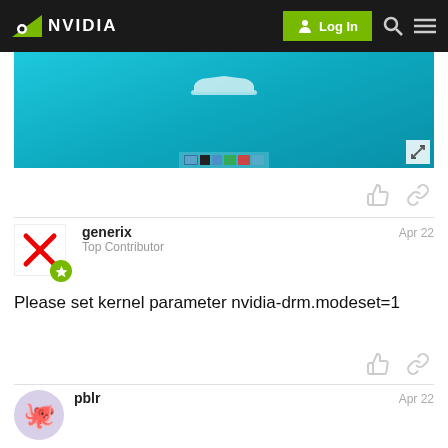NVIDIA | Log In
[Figure (screenshot): Screenshot showing a teal/cyan background with a car icon and a toolbar with icons at the bottom.]
generix
Top Contributor
Apr 22
Please set kernel parameter nvidia-drm.modeset=1
pblr
Apr 22
There is no more three parts screen but after logging in: